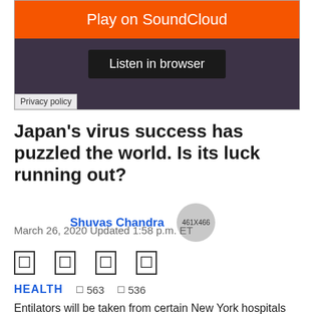[Figure (screenshot): SoundCloud embed widget with orange 'Play on SoundCloud' button, dark background 'Listen in browser' button, and 'Privacy policy' label in bottom-left corner]
Japan's virus success has puzzled the world. Is its luck running out?
Shuvas Chandra
March 26, 2020 Updated 1:58 p.m. ET
HEALTH  563  536
Entilators will be taken from certain New York hospitals and redistributed to the areas with nine out of the state's most